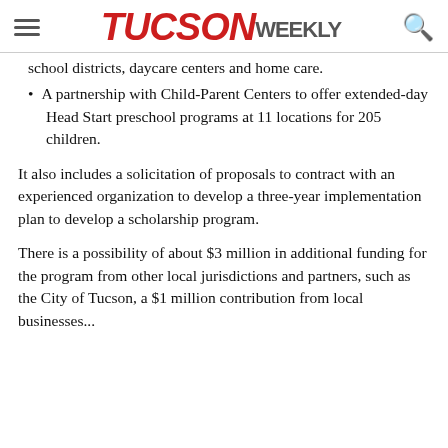TUCSON WEEKLY
school districts, daycare centers and home care.
A partnership with Child-Parent Centers to offer extended-day Head Start preschool programs at 11 locations for 205 children.
It also includes a solicitation of proposals to contract with an experienced organization to develop a three-year implementation plan to develop a scholarship program.
There is a possibility of about $3 million in additional funding for the program from other local jurisdictions and partners, such as the City of Tucson, a $1 million contribution from local businesses...